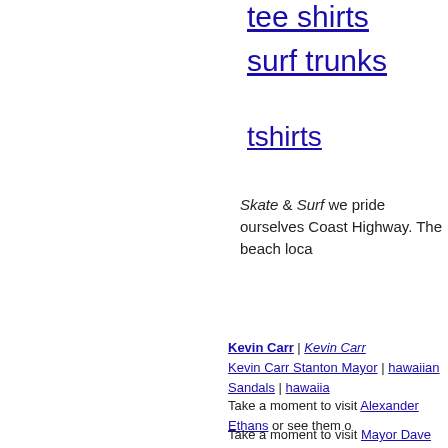tee shirts
surf trunks
tshirts
Skate & Surf we pride ourselves Coast Highway. The beach loca
Kevin Carr | Kevin Carr Kevin Carr Stanton Mayor | hawaiian Sandals | hawaiia
Take a moment to visit Alexander Ethans or see them o
Take a moment to visit Mayor Dave Shawver Stanton o glyder box review with ford crate engines is what is ne
[Figure (photo): A smartphone (iPhone) with a battery case/power bank attached, shown at an angle against a white background. The screen shows a blue wallpaper image.]
Get the and buy a